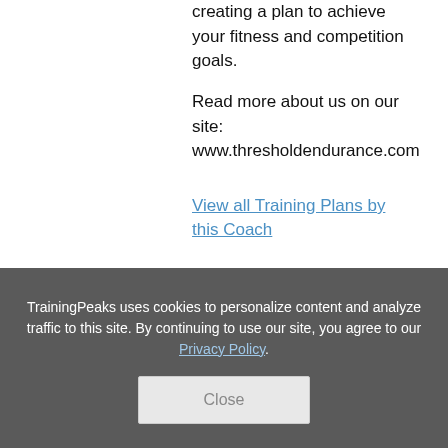creating a plan to achieve your fitness and competition goals.
Read more about us on our site: www.thresholdendurance.com
View all Training Plans by this Coach
TrainingPeaks uses cookies to personalize content and analyze traffic to this site. By continuing to use our site, you agree to our Privacy Policy.
Close